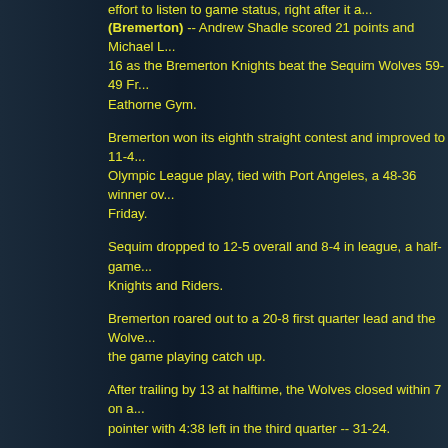effort to listen to game status, right after it a...
(Bremerton) -- Andrew Shadle scored 21 points and Michael L... 16 as the Bremerton Knights beat the Sequim Wolves 59-49 Fr... Eathorne Gym.
Bremerton won its eighth straight contest and improved to 11-4... Olympic League play, tied with Port Angeles, a 48-36 winner ov... Friday.
Sequim dropped to 12-5 overall and 8-4 in league, a half-game... Knights and Riders.
Bremerton roared out to a 20-8 first quarter lead and the Wolve... the game playing catch up.
After trailing by 13 at halftime, the Wolves closed within 7 on a... pointer with 4:38 left in the third quarter -- 31-24.
However, Shadle got red-hot, connecting of 4 of his 5 treys in th... Bremerton extended the lead back to 10 -- 43-33 -- heading to t...
Sequim got 8 final period markers from Jayson Brocklesby, but... than 8 the rest of the way.
Brocklesby finished with 15 for Sequim and Gabe Carter added...
Bremerton will visit Port Angeles Tuesday, while Sequim hosts K...